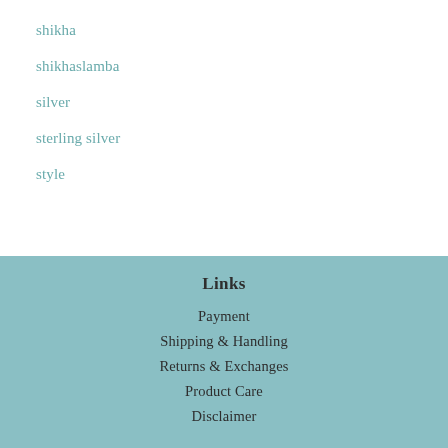shikha
shikhaslamba
silver
sterling silver
style
Links
Payment
Shipping & Handling
Returns & Exchanges
Product Care
Disclaimer